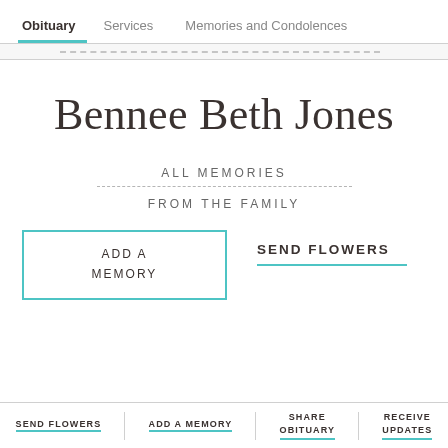Obituary   Services   Memories and Condolences
Bennee Beth Jones
ALL MEMORIES
FROM THE FAMILY
ADD A MEMORY
SEND FLOWERS
SEND FLOWERS   ADD A MEMORY   SHARE OBITUARY   RECEIVE UPDATES